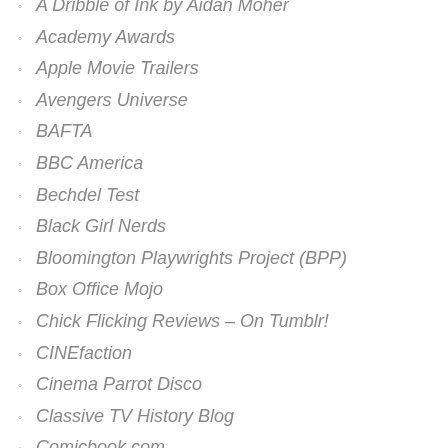A Dribble of Ink by Aidan Moher
Academy Awards
Apple Movie Trailers
Avengers Universe
BAFTA
BBC America
Bechdel Test
Black Girl Nerds
Bloomington Playwrights Project (BPP)
Box Office Mojo
Chick Flicking Reviews – On Tumblr!
CINEfaction
Cinema Parrot Disco
Classive TV History Blog
Comicbook.com
Damn, That's Some Fine Tailoring